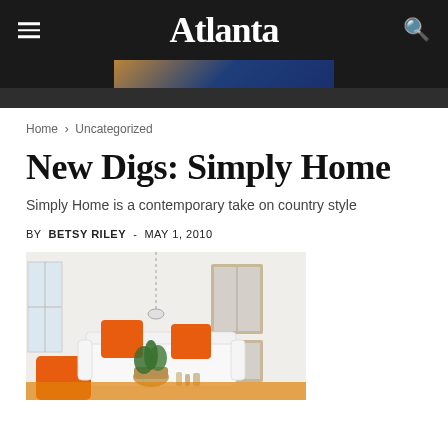Atlanta
[Figure (photo): Partial advertisement banner image with blue and gold tones]
Home › Uncategorized
New Digs: Simply Home
Simply Home is a contemporary take on country style
BY BETSY RILEY - MAY 1, 2010
[Figure (photo): Interior living room photo showing white sofas with orange throw pillows, a basket with a plant, and wooden-framed mirrors in background]